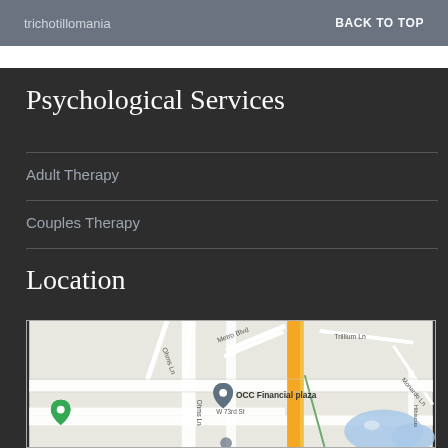trichotillomania   BACK TO TOP
Psychological Services
Adult Therapy
Couples Therapy
Location
[Figure (map): Google Maps showing OCC Financial Plaza location near Metro Blvd, W 73rd St, Trillium Ln, Monardo Ln, Hibiscus, with a highlighted yellow vertical road and a lake/water body in the lower right.]